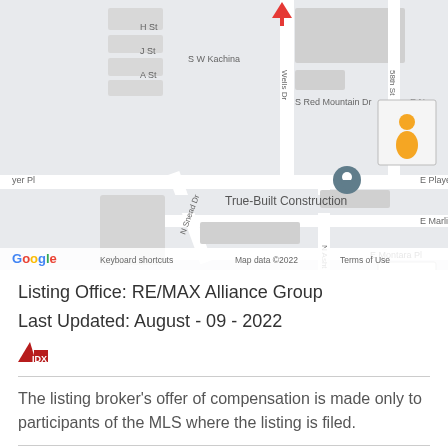[Figure (map): Google Maps view showing True-Built Construction location with a pin marker, streets including S W Kachina, S Red Mountain Dr, E Player Pl, E Marlin Pl, E Montara Pl, N Snead Dr, N Asht, 58th St, and zoom controls. Shows Google logo, Keyboard shortcuts, Map data ©2022, Terms of Use.]
Listing Office: RE/MAX Alliance Group
Last Updated: August - 09 - 2022
[Figure (logo): IDX logo - small red triangle with IDX text]
The listing broker's offer of compensation is made only to participants of the MLS where the listing is filed.